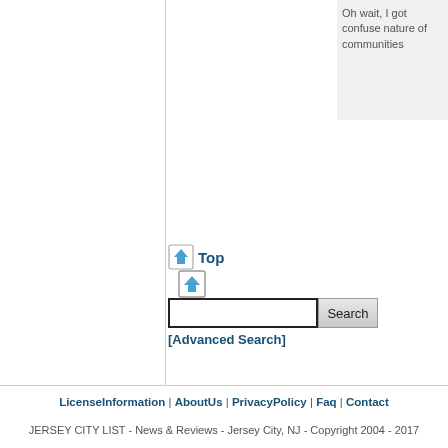Oh wait, I got confuse nature of communities
[Figure (illustration): Small blue upward arrow icon in a square border]
Top
Search [Advanced Search]
LicenseInformation | AboutUs | PrivacyPolicy | Faq | Contact
JERSEY CITY LIST - News & Reviews - Jersey City, NJ - Copyright 2004 - 2017